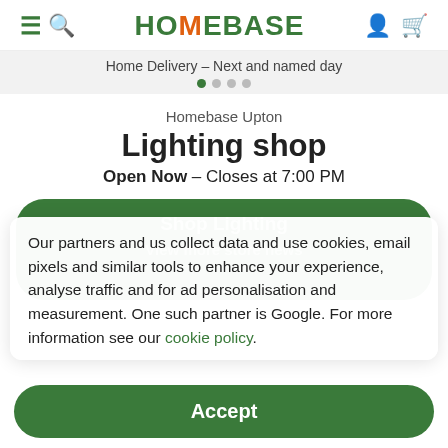HOMEBASE (navigation bar with menu, search, account, and cart icons)
Home Delivery – Next and named day
Homebase Upton
Lighting shop
Open Now - Closes at 7:00 PM
Our partners and us collect data and use cookies, email pixels and similar tools to enhance your experience, analyse traffic and for ad personalisation and measurement. One such partner is Google. For more information see our cookie policy.
Accept